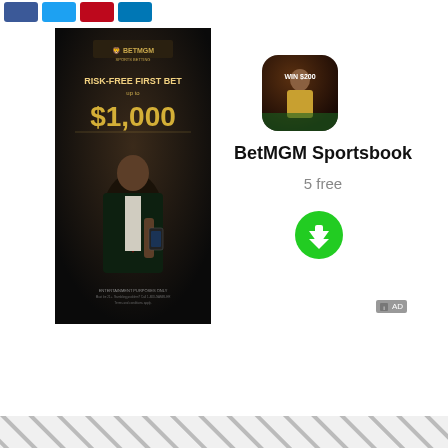[Figure (screenshot): Social media share buttons: Facebook (blue), Twitter (light blue), Pinterest (red), LinkedIn (blue)]
[Figure (photo): BetMGM advertisement poster: dark background with man in suit holding phone, text 'RISK-FREE FIRST BET up to $1,000', BetMGM logo at top]
[Figure (screenshot): BetMGM Sportsbook app icon: football player image with rounded corners]
BetMGM Sportsbook
5 free
[Figure (other): Green circular download button with white downward arrow]
AD
[Figure (other): Bottom diagonal hatched pattern bar]